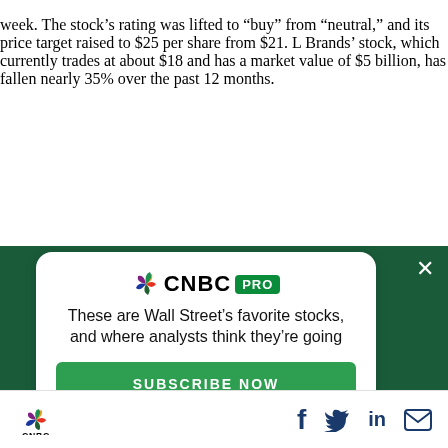week. The stock's rating was lifted to "buy" from "neutral," and its price target raised to $25 per share from $21. L Brands' stock, which currently trades at about $18 and has a market value of $5 billion, has fallen nearly 35% over the past 12 months.
[Figure (screenshot): CNBC PRO subscription advertisement overlay on dark green background with white card containing CNBC PRO logo, promotional text 'These are Wall Street's favorite stocks, and where analysts think they're going', and a green SUBSCRIBE NOW button. A close (×) button appears top-right.]
CNBC logo with social sharing icons: Facebook, Twitter, LinkedIn, Email